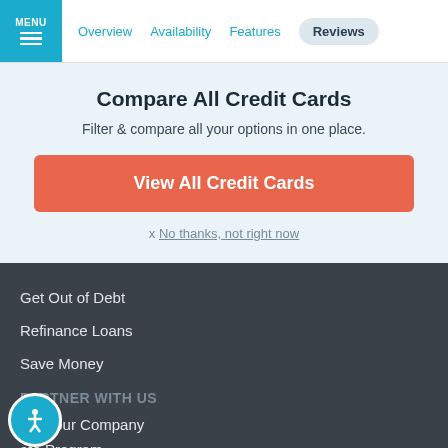MENU | Overview | Availability | Features | Reviews
Compare All Credit Cards
Filter & compare all your options in one place.
View All Credit Cards
x No thanks, not right now
Get Out of Debt
Refinance Loans
Save Money
PARTNER WITH US
ure Your Company
ate Program